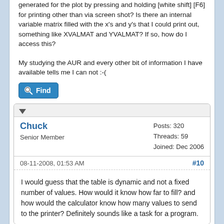generated for the plot by pressing and holding [white shift] [F6] for printing other than via screen shot? Is there an internal variable matrix filled with the x's and y's that I could print out, something like XVALMAT and YVALMAT? If so, how do I access this?
My studying the AUR and every other bit of information I have available tells me I can not :-(
[Figure (other): Find button with magnifying glass icon]
Chuck
Senior Member
Posts: 320
Threads: 59
Joined: Dec 2006
08-11-2008, 01:53 AM
#10
I would guess that the table is dynamic and not a fixed number of values. How would it know how far to fill? and how would the calculator know how many values to send to the printer? Definitely sounds like a task for a program.